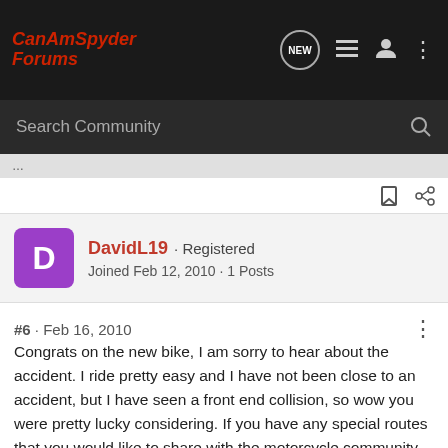CanAmSpyder Forums
Search Community
DavidL19 · Registered
Joined Feb 12, 2010 · 1 Posts
#6 · Feb 16, 2010
Congrats on the new bike, I am sorry to hear about the accident. I ride pretty easy and I have not been close to an accident, but I have seen a front end collision, so wow you were pretty lucky considering. If you have any special routes that you would like to share with the motorcycle community please post onto my online map at allstate insurance route or allstate insurance moto. I am an advocate for allstate and thus I using